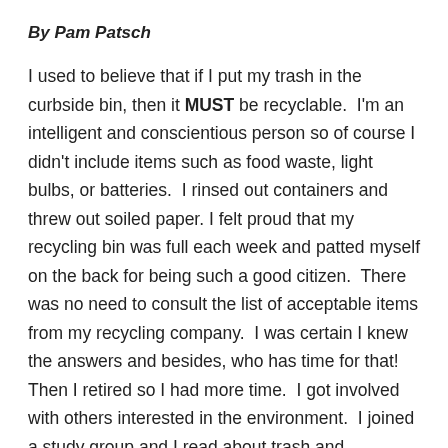By Pam Patsch
I used to believe that if I put my trash in the curbside bin, then it MUST be recyclable. I'm an intelligent and conscientious person so of course I didn't include items such as food waste, light bulbs, or batteries. I rinsed out containers and threw out soiled paper. I felt proud that my recycling bin was full each week and patted myself on the back for being such a good citizen. There was no need to consult the list of acceptable items from my recycling company. I was certain I knew the answers and besides, who has time for that! Then I retired so I had more time. I got involved with others interested in the environment. I joined a study group and I read about trash and